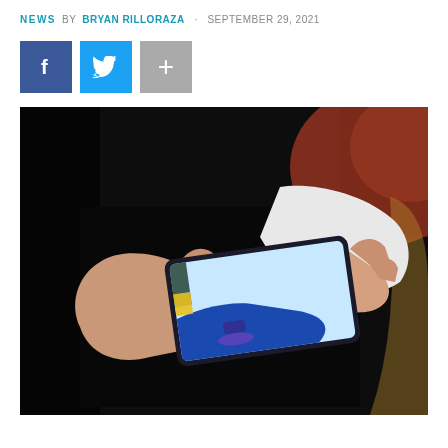NEWS  BY BRYAN RILLORAZA  SEPTEMBER 29, 2021
[Figure (other): Social media share buttons: Facebook (blue), Twitter (light blue), and a '+' more button (gray)]
[Figure (photo): Person holding a smartphone in landscape mode playing a mobile racing game, with both hands visible against a dark background. The phone screen shows a futuristic racing game with neon blue track elements.]